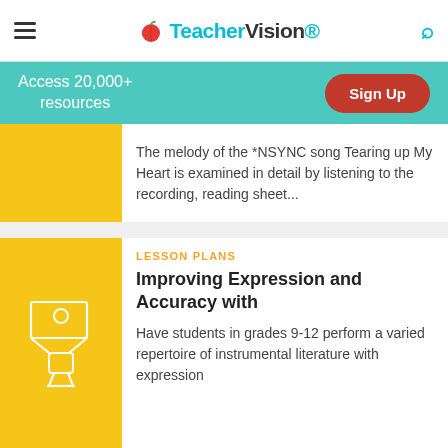TeacherVision
Access 20,000+ resources
Sign Up
The melody of the *NSYNC song Tearing up My Heart is examined in detail by listening to the recording, reading sheet...
[Figure (illustration): Yellow square thumbnail image placeholder]
LESSON PLANS
Improving Expression and Accuracy with
[Figure (illustration): Yellow square with white icon of teacher at a podium/whiteboard]
Have students in grades 9-12 perform a varied repertoire of instrumental literature with expression